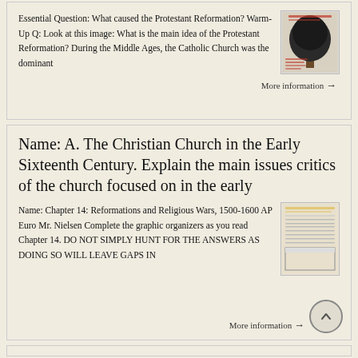Essential Question: What caused the Protestant Reformation? Warm-Up Q: Look at this image: What is the main idea of the Protestant Reformation? During the Middle Ages, the Catholic Church was the dominant
[Figure (illustration): Thumbnail image of a tree, related to Protestant Reformation]
More information →
Name: A. The Christian Church in the Early Sixteenth Century. Explain the main issues critics of the church focused on in the early
Name: Chapter 14: Reformations and Religious Wars, 1500-1600 AP Euro Mr. Nielsen Complete the graphic organizers as you read Chapter 14. DO NOT SIMPLY HUNT FOR THE ANSWERS AS DOING SO WILL LEAVE GAPS IN
[Figure (screenshot): Thumbnail of a document worksheet with highlighted text lines]
More information →